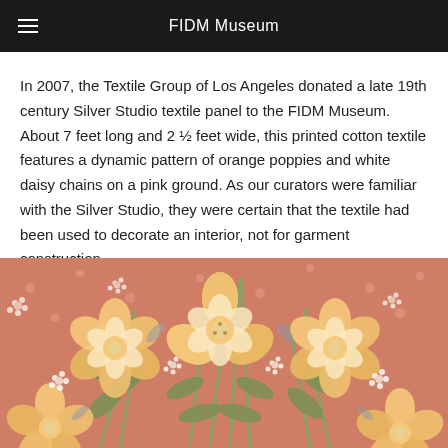FIDM Museum
In 2007, the Textile Group of Los Angeles donated a late 19th century Silver Studio textile panel to the FIDM Museum. About 7 feet long and 2 ½ feet wide, this printed cotton textile features a dynamic pattern of orange poppies and white daisy chains on a pink ground. As our curators were familiar with the Silver Studio, they were certain that the textile had been used to decorate an interior, not for garment construction.
[Figure (photo): Close-up photograph of a late 19th century Silver Studio textile panel showing a floral pattern with orange/yellow poppies, white daisy chains, and green foliage on a pink ground.]